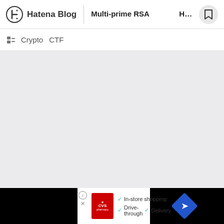Hatena Blog | Multi-prime RSA　　　　Hack The Vo...
Crypto  CTF
[Figure (screenshot): Gray blank content area, appears to be a loading or empty blog post area]
[Figure (screenshot): Advertisement banner: CVS Pharmacy ad showing In-store shopping, Drive-through, Delivery checkmarks with navigation arrow button]